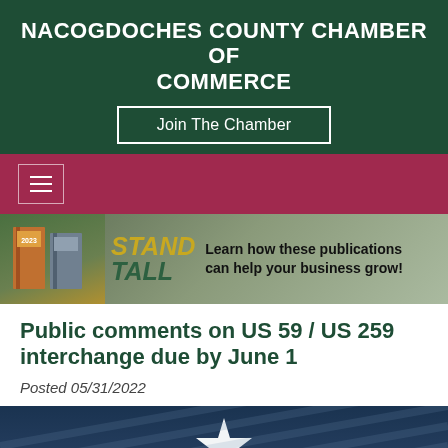NACOGDOCHES COUNTY CHAMBER OF COMMERCE
Join The Chamber
[Figure (screenshot): Maroon navigation bar with hamburger menu icon]
[Figure (illustration): Stand Tall banner advertisement with publications and text: Learn how these publications can help your business grow!]
Public comments on US 59 / US 259 interchange due by June 1
Posted 05/31/2022
[Figure (photo): TxDOT logo on dark blue background with diagonal lines]